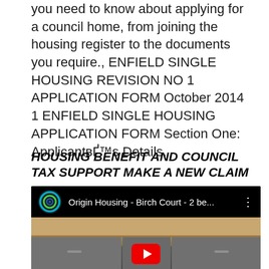you need to know about applying for a council home, from joining the housing register to the documents you require., ENFIELD SINGLE HOUSING REVISION NO 1 APPLICATION FORM October 2014 1 ENFIELD SINGLE HOUSING APPLICATION FORM Section One: ApplicantвЂ™s Details.
HOUSING BENEFIT AND COUNCIL TAX SUPPORT MAKE A NEW CLAIM
[Figure (screenshot): YouTube video thumbnail showing 'Origin Housing - Birch Court - 2 be...' with a kitchen counter scene visible and a play button at the bottom]